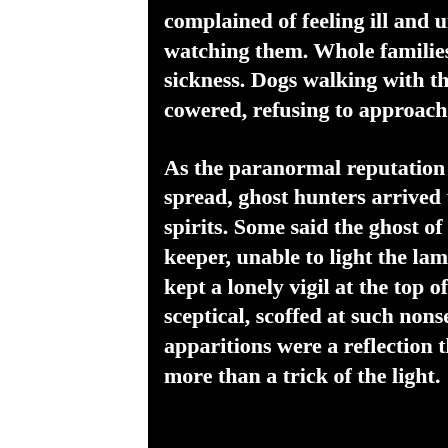[Figure (photo): Right side: foggy forest with dark conifer trees silhouetted against a grey misty sky]
complained of feeling ill and uneasy as if an evil spirit was watching them. Whole families were struck down with sickness. Dogs walking with their owners ran away and cowered, refusing to approach the lighthouse.
As the paranormal reputation of Talacre lighthouse spread, ghost hunters arrived to search for phantom spirits. Some said the ghost of a long dead lighthouse keeper, unable to light the lamp to warn passing ships, kept a lonely vigil at the top of the tower. Others, more sceptical, scoffed at such nonsense and said the apparitions were a reflection through the lens and nothing more than a trick of the light.